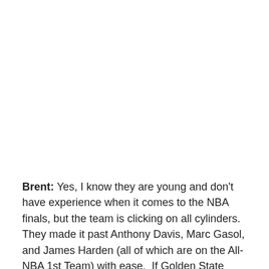Brent: Yes, I know they are young and don't have experience when it comes to the NBA finals, but the team is clicking on all cylinders.  They made it past Anthony Davis, Marc Gasol, and James Harden (all of which are on the All-NBA 1st Team) with ease.  If Golden State wins, beating LeBron would round out